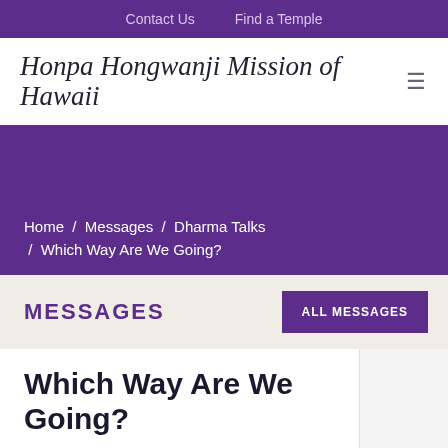Contact Us   Find a Temple
Honpa Hongwanji Mission of Hawaii
Home / Messages / Dharma Talks / Which Way Are We Going?
MESSAGES
ALL MESSAGES
Which Way Are We Going?